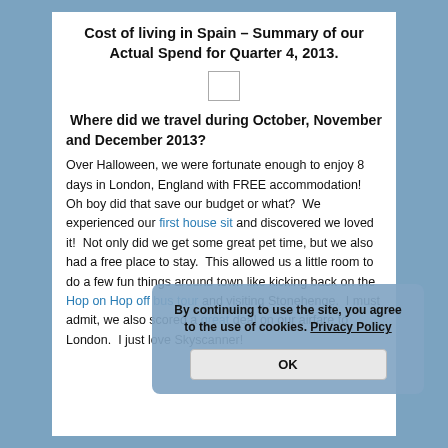Cost of living in Spain – Summary of our Actual Spend for Quarter 4, 2013.
[Figure (other): Small placeholder image rectangle]
Where did we travel during October, November and December 2013?
Over Halloween, we were fortunate enough to enjoy 8 days in London, England with FREE accommodation!  Oh boy did that save our budget or what?  We experienced our first house sit and discovered we loved it!  Not only did we get some great pet time, but we also had a free place to stay.  This allowed us a little room to do a few fun things around town like kicking back on the Hop on Hop off bus tour and visiting Stonehenge.  I must admit, we also scored a great deal on our airfare to London.  I just love Skyscanner!
By continuing to use the site, you agree to the use of cookies. Privacy Policy OK